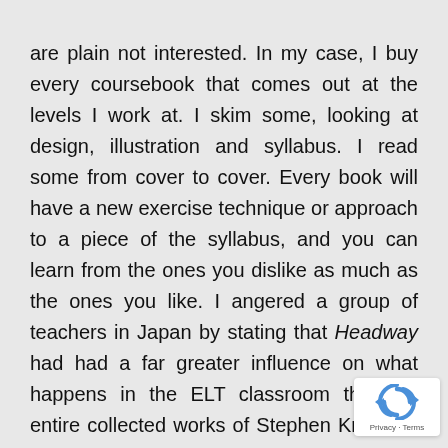are plain not interested. In my case, I buy every coursebook that comes out at the levels I work at. I skim some, looking at design, illustration and syllabus. I read some from cover to cover. Every book will have a new exercise technique or approach to a piece of the syllabus, and you can learn from the ones you dislike as much as the ones you like. I angered a group of teachers in Japan by stating that Headway had had a far greater influence on what happens in the ELT classroom that the entire collected works of Stephen Krashen. In practical terms, coursebooks are the filter through which theory reaches the classroom. It's a thick filter with an inbuilt delay system, but the good ideas trickle through eventually. And a lot of crap gets caught in the filter and never passes through.
[Figure (logo): reCAPTCHA badge with rotating arrows icon and Privacy · Terms text]